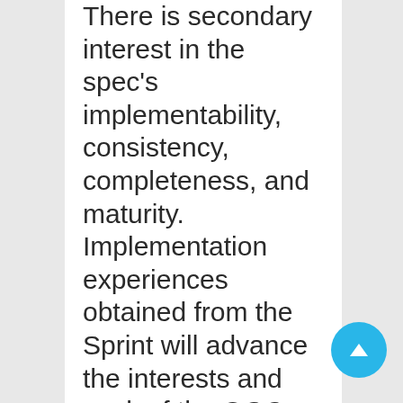There is secondary interest in the spec's implementability, consistency, completeness, and maturity. Implementation experiences obtained from the Sprint will advance the interests and work of the OGC Interoperable Simulation and Gaming Domain Working Group (ISG DWG) and of the OGC Standards Baseline in